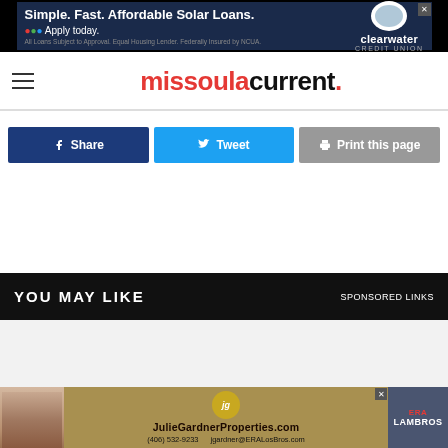[Figure (screenshot): Advertisement banner: Simple. Fast. Affordable Solar Loans. Apply today. Clearwater Credit Union logo. Close button.]
missoulacurrent.
Share
Tweet
Print this page
YOU MAY LIKE   SPONSORED LINKS
[Figure (screenshot): Advertisement: JulieGardnerProperties.com — (406) 532-9233  jgardner@ERALosBros.com  ERA LAMBROS]